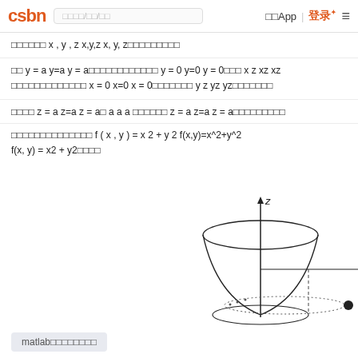CSDN | 搜索/关注/内容 | 下载App | 登录 | ≡
三维空间的 x , y , z x,y,z x, y, z坐标轴方向的单位向量
其中 y = a y=a y = a时的截面包含平面 y = 0 y=0 y = 0时的 x z xz xz 平面，以及包含平面 x = 0 x=0 x = 0时的 y z yz yz平面的截面
例如 z = a z=a z = a（ a a a 为常数）的截面 z = a z=a z = a时的截面信息
以下是三维立体曲面的图形 f ( x , y ) = x 2 + y 2 f(x,y)=x^2+y^2 f(x, y) = x2 + y2的图像
[Figure (engineering-diagram): 3D paraboloid surface diagram with z-axis (vertical arrow), horizontal axis, dashed vertical line to base point, dotted ellipse at base level, and a filled dot on the right axis. The bowl-shaped paraboloid surface is shown in 3D perspective.]
matlab曲面绘制教程